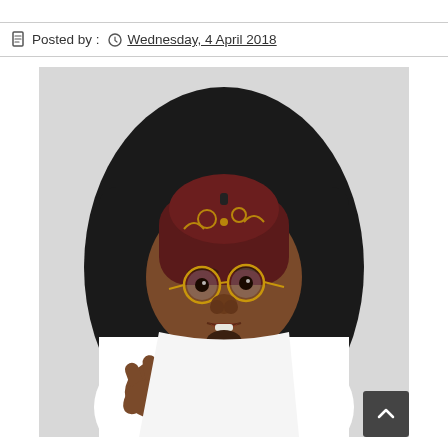Posted by :  Wednesday, 4 April 2018
[Figure (photo): A man wearing a dark red embroidered cap and round gold-rimmed glasses, dressed in white, seated in a black leather chair, gesturing with his right hand while speaking expressively.]